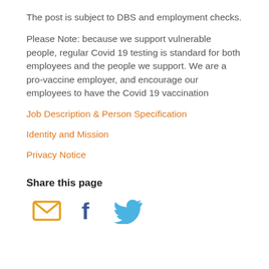The post is subject to DBS and employment checks.
Please Note: because we support vulnerable people, regular Covid 19 testing is standard for both employees and the people we support. We are a pro-vaccine employer, and encourage our employees to have the Covid 19 vaccination
Job Description & Person Specification
Identity and Mission
Privacy Notice
Share this page
[Figure (infographic): Three social sharing icons: email (envelope, orange), Facebook (f, dark blue), Twitter (bird, light blue)]